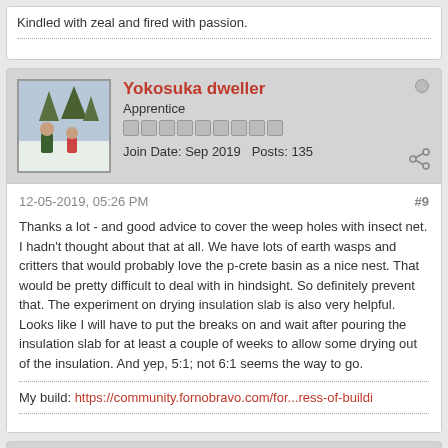Kindled with zeal and fired with passion.
Yokosuka dweller
Apprentice
Join Date: Sep 2019   Posts: 135
12-05-2019, 05:26 PM   #9
Thanks a lot - and good advice to cover the weep holes with insect net. I hadn't thought about that at all. We have lots of earth wasps and critters that would probably love the p-crete basin as a nice nest. That would be pretty difficult to deal with in hindsight. So definitely prevent that. The experiment on drying insulation slab is also very helpful. Looks like I will have to put the breaks on and wait after pouring the insulation slab for at least a couple of weeks to allow some drying out of the insulation. And yep, 5:1; not 6:1 seems the way to go.
My build: https://community.fornobravo.com/for...ress-of-buildi
Yokosuka dweller
Apprentice